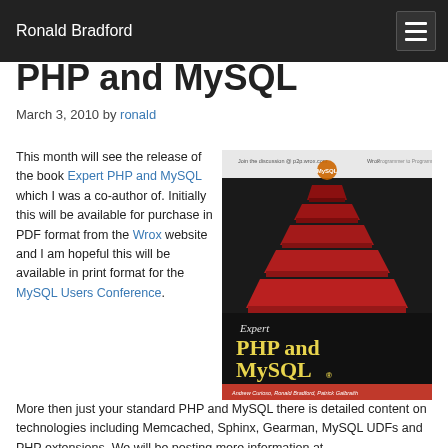Ronald Bradford
PHP and MySQL
March 3, 2010 by ronald
This month will see the release of the book Expert PHP and MySQL which I was a co-author of. Initially this will be available for purchase in PDF format from the Wrox website and I am hopeful this will be available in print format for the MySQL Users Conference.
[Figure (photo): Book cover of Expert PHP and MySQL by Andrew Curioso, Ronald Bradford, Patrick Galbraith. Shows a red pagoda-style building on a dark background with yellow title text.]
More then just your standard PHP and MySQL there is detailed content on technologies including Memcached, Sphinx, Gearman, MySQL UDFs and PHP extensions. We will be posting more information at